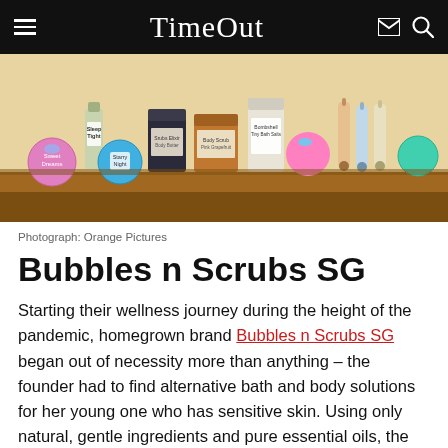Time Out
[Figure (photo): Shelf display of Bubbles n Scrubs SG products including bath bombs, jars, and bottles with labels including Sweet Dreams, Sleep Tight, Starry Night, and Tiny Bath Salts]
Photograph: Orange Pictures
Bubbles n Scrubs SG
Starting their wellness journey during the height of the pandemic, homegrown brand Bubbles n Scrubs SG began out of necessity more than anything – the founder had to find alternative bath and body solutions for her young one who has sensitive skin. Using only natural, gentle ingredients and pure essential oils, the line includes bath bombs, body scrubs, botanical roll-ons, pillow mists and